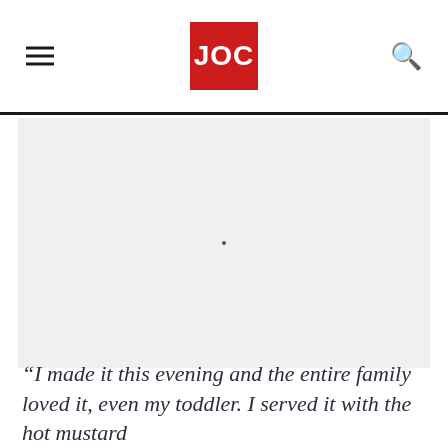JOC
[Figure (photo): Light gray placeholder image area with a small dot in the center]
“I made it this evening and the entire family loved it, even my toddler. I served it with the hot mustard